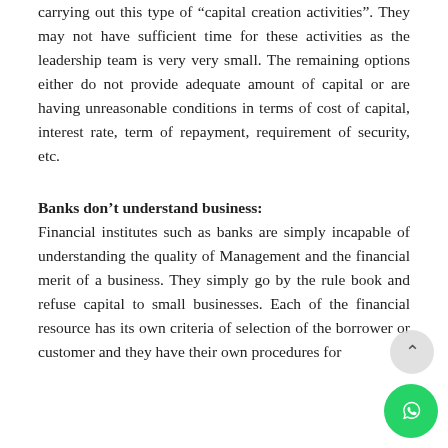carrying out this type of “capital creation activities”. They may not have sufficient time for these activities as the leadership team is very very small. The remaining options either do not provide adequate amount of capital or are having unreasonable conditions in terms of cost of capital, interest rate, term of repayment, requirement of security, etc.
Banks don’t understand business:
Financial institutes such as banks are simply incapable of understanding the quality of Management and the financial merit of a business. They simply go by the rule book and refuse capital to small businesses. Each of the financial resource has its own criteria of selection of the borrower or customer and they have their own procedures for